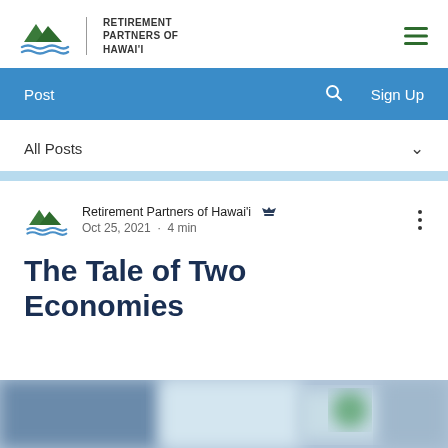Retirement Partners of Hawai'i
Post   Sign Up
All Posts
Retirement Partners of Hawai'i  Oct 25, 2021 · 4 min
The Tale of Two Economies
[Figure (photo): Blurred photograph partially visible at bottom of page]